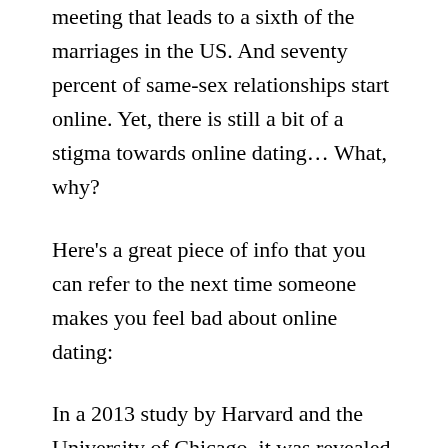meeting that leads to a sixth of the marriages in the US. And seventy percent of same-sex relationships start online. Yet, there is still a bit of a stigma towards online dating… What, why?
Here's a great piece of info that you can refer to the next time someone makes you feel bad about online dating:
In a 2013 study by Harvard and the University of Chicago, it was revealed that relationships that started online we less likely to end in a break-up and were associated with higher levels of satisfaction than the couples who met offline.